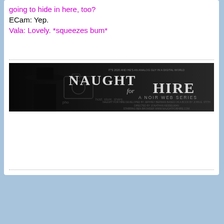going to hide in here, too?
ECam: Yep.
Vala: Lovely. *squeezes bum*
[Figure (photo): Naught for Hire - A Noir Web Series promotional banner. Black and white image of a man in a fedora hat. Text reads: IT'S 2020 AND HE'S AN ANALOG GUY IN A DIGITAL WORLD. NAUGHT FOR HIRE - A NOIR WEB SERIES. DEVELOPED BY JEFFREY BERMAN. BASED ON A BOOK BY JOHN E. STITH. DIRECTED BY JONATHAN KESSELMAN. STARRING BEN BROWDER. WWW.NAUGHTFORHIRE.COM. Photobucket watermark/overlay visible.]
[Figure (photo): Profile avatar photo of a man with dark hair and stubble, holding his hand near his face, wearing a blue jacket. Illustrated/artistic style.]
DJgirl
Lieutenant General